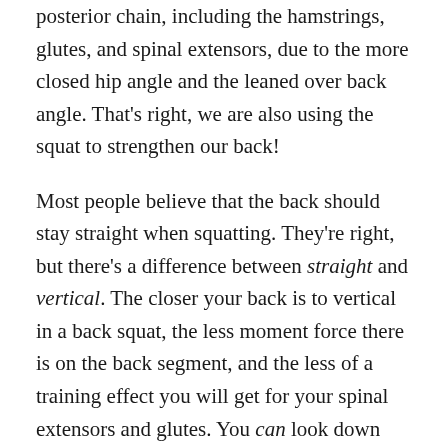posterior chain, including the hamstrings, glutes, and spinal extensors, due to the more closed hip angle and the leaned over back angle. That's right, we are also using the squat to strengthen our back!
Most people believe that the back should stay straight when squatting. They're right, but there's a difference between straight and vertical. The closer your back is to vertical in a back squat, the less moment force there is on the back segment, and the less of a training effect you will get for your spinal extensors and glutes. You can look down and have a more horizontal back angle while keeping the spine straight. This requires that the lifter is able to lock the spine in rigid